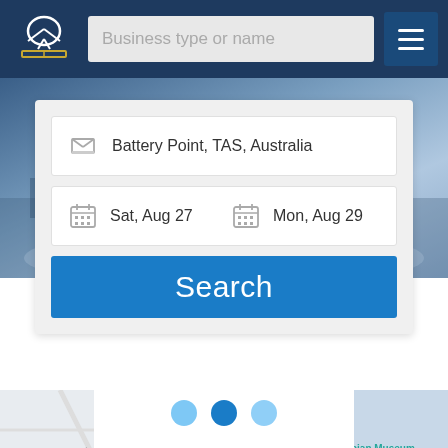[Figure (screenshot): App navigation bar with logo, 'Business type or name' search input, and hamburger menu button on dark navy background]
Business type or name
Battery Point, TAS, Australia
Sat, Aug 27
Mon, Aug 29
Search
[Figure (map): Google Maps view showing Hobart area with Tasmanian Museum and Art Gallery marker, streets including Liverpool St and Harrington St, and water/harbor area]